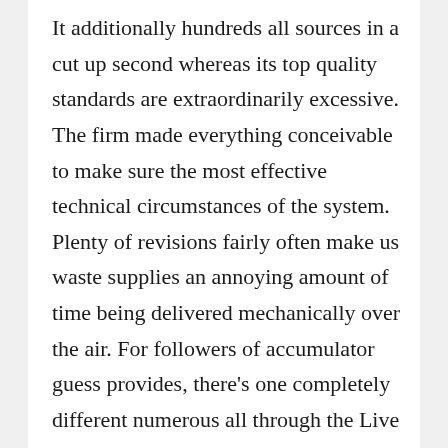It additionally hundreds all sources in a cut up second whereas its top quality standards are extraordinarily excessive. The firm made everything conceivable to make sure the most effective technical circumstances of the system. Plenty of revisions fairly often make us waste supplies an annoying amount of time being delivered mechanically over the air. For followers of accumulator guess provides, there's one completely different numerous all through the Live half. Make positive that you simply just simply merely merely take a look at the entire T&C earlier than you finish the registration and login together with your account. Contact us on the Consulting WP office nearest to you or submit a enterprise inquiry on-line. If you're additionally